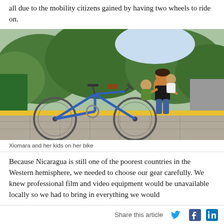all due to the mobility citizens gained by having two wheels to ride on.
[Figure (photo): A woman riding a bicycle with two children, one seated on the front child seat and one behind her, on a paved street with green trees and a yellow curb in the background.]
Xiomara and her kids on her bike
Because Nicaragua is still one of the poorest countries in the Western hemisphere, we needed to choose our gear carefully. We knew professional film and video equipment would be unavailable locally so we had to bring in everything we would
Share this article